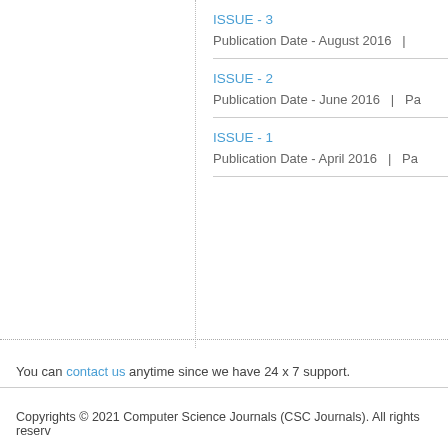ISSUE - 3
Publication Date - August 2016  |
ISSUE - 2
Publication Date - June 2016  |  Pa
ISSUE - 1
Publication Date - April 2016  |  Pa
You can contact us anytime since we have 24 x 7 support.
Copyrights © 2021 Computer Science Journals (CSC Journals). All rights reserv